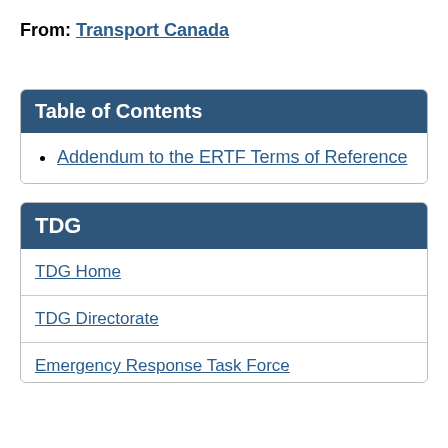From: Transport Canada
Table of Contents
Addendum to the ERTF Terms of Reference
TDG
TDG Home
TDG Directorate
Emergency Response Task Force